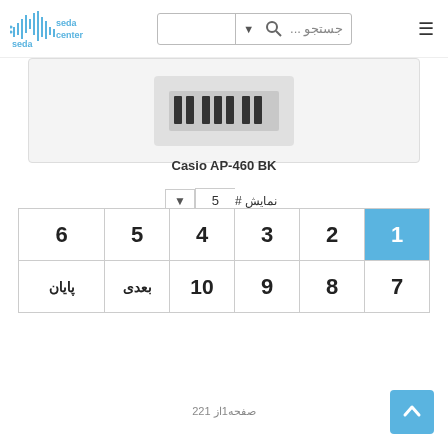[Figure (logo): Seda Center logo with sound wave graphic and blue text reading 'seda center']
جستجو ...
Casio AP-460 BK
نمایش # 5
1 2 3 4 5 6 / 7 8 9 10 بعدی پایان
صفحه1از 221